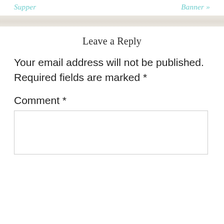Supper   Banner »
Leave a Reply
Your email address will not be published. Required fields are marked *
Comment *